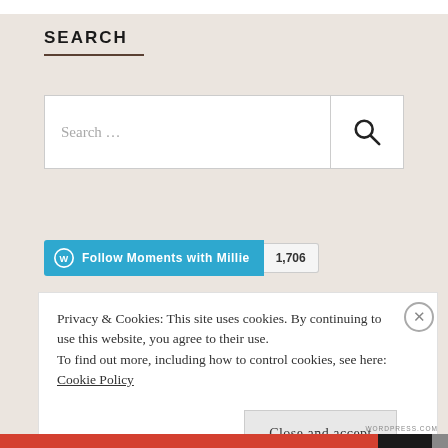SEARCH
[Figure (screenshot): Search input box with placeholder text 'Search ...' and a magnifying glass icon button on the right]
[Figure (screenshot): WordPress Follow button 'Follow Moments with Millie' in teal/blue with follower count badge showing 1,706]
Privacy & Cookies: This site uses cookies. By continuing to use this website, you agree to their use.
To find out more, including how to control cookies, see here: Cookie Policy
Close and accept